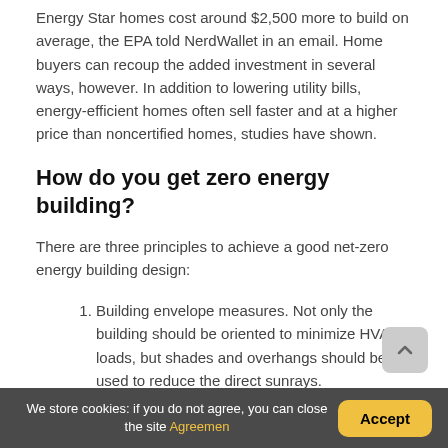Energy Star homes cost around $2,500 more to build on average, the EPA told NerdWallet in an email. Home buyers can recoup the added investment in several ways, however. In addition to lowering utility bills, energy-efficient homes often sell faster and at a higher price than noncertified homes, studies have shown.
How do you get zero energy building?
There are three principles to achieve a good net-zero energy building design:
Building envelope measures. Not only the building should be oriented to minimize HVAC loads, but shades and overhangs should be used to reduce the direct sunrays.
Energy efficiency measures.
We store cookies: if you do not agree, you can close the site Agreemen